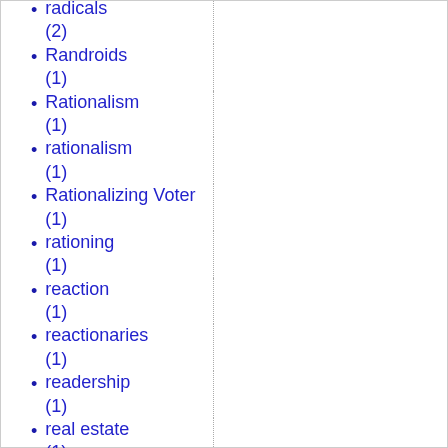radicals (2)
Randroids (1)
Rationalism (1)
rationalism (1)
Rationalizing Voter (1)
rationing (1)
reaction (1)
reactionaries (1)
readership (1)
real estate (1)
reason (1)
Reasons